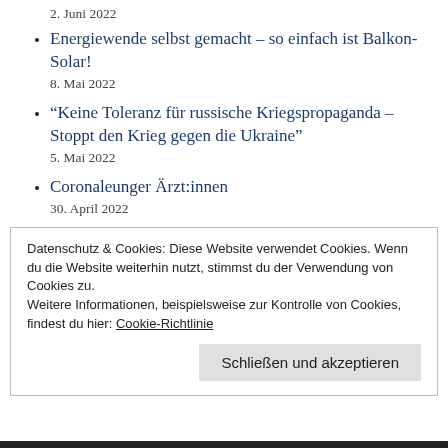2. Juni 2022
Energiewende selbst gemacht – so einfach ist Balkon-Solar!
8. Mai 2022
“Keine Toleranz für russische Kriegspropaganda – Stoppt den Krieg gegen die Ukraine"
5. Mai 2022
Coronaleunger Ärzt:innen
30. April 2022
Datenschutz & Cookies: Diese Website verwendet Cookies. Wenn du die Website weiterhin nutzt, stimmst du der Verwendung von Cookies zu.
Weitere Informationen, beispielsweise zur Kontrolle von Cookies, findest du hier: Cookie-Richtlinie
Schließen und akzeptieren